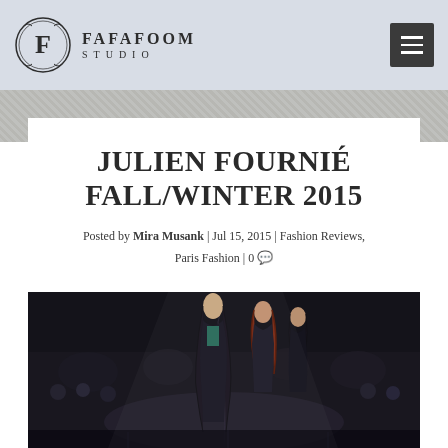FAFAFOOM STUDIO
JULIEN FOURNIÉ FALL/WINTER 2015
Posted by Mira Musank | Jul 15, 2015 | Fashion Reviews, Paris Fashion | 0 💬
[Figure (photo): Fashion runway photo showing models walking the catwalk at Julien Fournié Fall/Winter 2015 show in Paris]